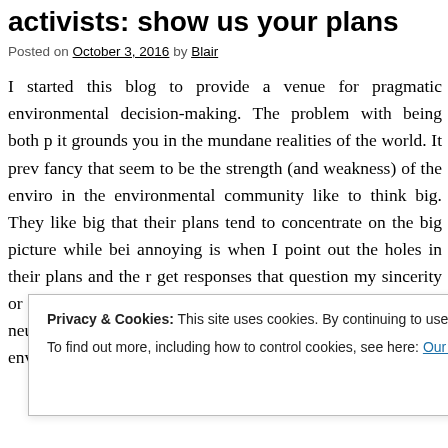A challenge to the climate activists, Leap activists: show us your plans
Posted on October 3, 2016 by Blair
I started this blog to provide a venue for pragmatic environmental decision-making. The problem with being both p... it grounds you in the mundane realities of the world. It prev... fancy that seem to be the strength (and weakness) of the enviro... in the environmental community like to think big. They like big... that their plans tend to concentrate on the big picture while bei... annoying is when I point out the holes in their plans and the r... get responses that question my sincerity or dedication to t... requirement to put my scientific mind in neutral in order to be c... I am a scientist, a pragmatist and an environmentalist and I war...
Privacy & Cookies: This site uses cookies. By continuing to use this website, you agree to their use.
To find out more, including how to control cookies, see here: Our Cookie Policy
Close and accept